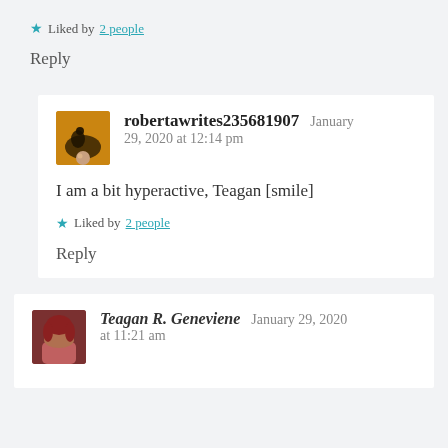★ Liked by 2 people
Reply
robertawrites235681907   January 29, 2020 at 12:14 pm
I am a bit hyperactive, Teagan [smile]
★ Liked by 2 people
Reply
Teagan R. Geneviene   January 29, 2020 at 11:21 am